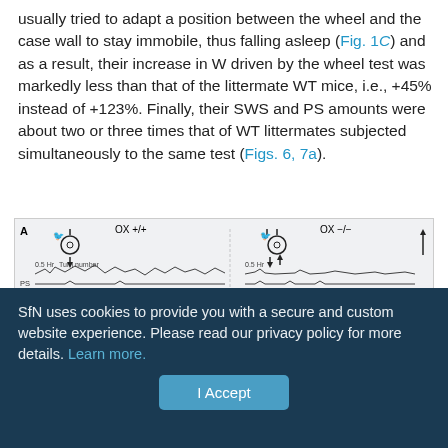usually tried to adapt a position between the wheel and the case wall to stay immobile, thus falling asleep (Fig. 1C) and as a result, their increase in W driven by the wheel test was markedly less than that of the littermate WT mice, i.e., +45% instead of +123%. Finally, their SWS and PS amounts were about two or three times that of WT littermates subjected simultaneously to the same test (Figs. 6, 7a).
[Figure (other): Electrophysiological recordings showing EEG, EMG, and sleep stage traces for OX+/+ and OX-/- mice. Panel A shows turn number and sleep stage (PS, SWS, W) traces with arrows indicating wheel introduction. Panel B shows traces after Ox-A 3µg i.c.v. injection. Left panels show OX+/+ mice, right panels show OX-/- mice.]
SfN uses cookies to provide you with a secure and custom website experience. Please read our privacy policy for more details. Learn more.